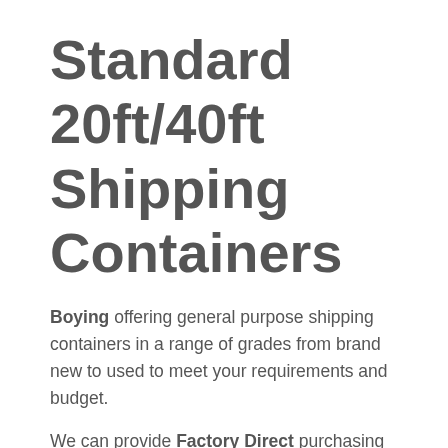Standard 20ft/40ft Shipping Containers
Boying offering general purpose shipping containers in a range of grades from brand new to used to meet your requirements and budget.
We can provide Factory Direct purchasing means you can take advantage of amazingly low prices since there is no middle man. Our sizing includes 20' and 40' sizes. Contact us for a free...